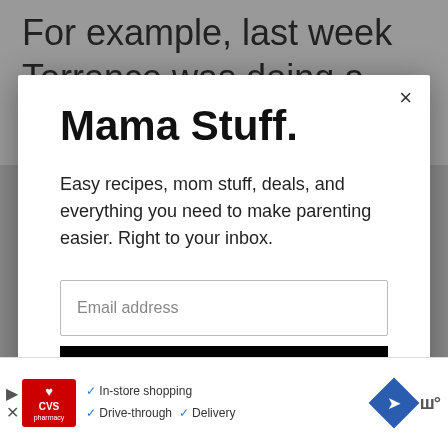For example, last week Terrence was doing a new eating plan and he
Mama Stuff.
Easy recipes, mom stuff, deals, and everything you need to make parenting easier. Right to your inbox.
Email address
Subscribe
In-store shopping  Drive-through  Delivery